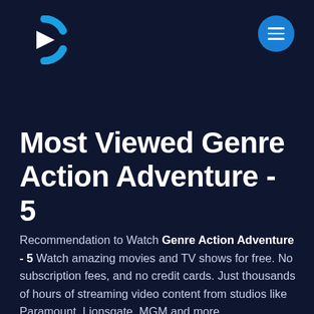[Figure (logo): Crackle streaming service logo — a stylized letter C in white and blue tones with a play button triangle]
[Figure (other): Circular blue hamburger menu button with three white horizontal lines]
Most Viewed Genre Action Adventure - 5
Recommendation to Watch Genre Action Adventure - 5 Watch amazing movies and TV shows for free. No subscription fees, and no credit cards. Just thousands of hours of streaming video content from studios like Paramount, Lionsgate, MGM and more.